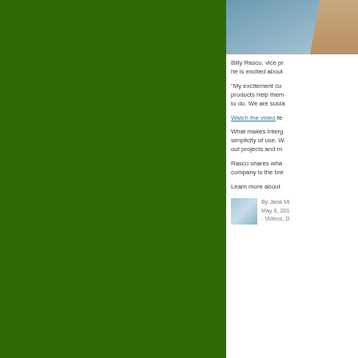[Figure (photo): Green background panel on the left side of the page, and a partial photo of a person on blue background top right]
Billy Rasco, vice pr... he is excited about...
“My excitement co... products help them... to do. We are susta...
Watch the video fe...
What makes Interg... simplicity of use. W... out projects and m...
Rasco shares wha... company is the bre...
Learn more about ...
By Jana Mi... May 8, 201... - Videos, D...